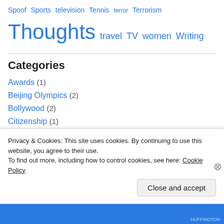Spoof Sports television Tennis terror Terrorism Thoughts travel TV women Writing
Categories
Awards (1)
Beijing Olympics (2)
Bollywood (2)
Citizenship (1)
Crapola News (5)
economy (3)
Evolution (2)
Privacy & Cookies: This site uses cookies. By continuing to use this website, you agree to their use. To find out more, including how to control cookies, see here: Cookie Policy
Close and accept